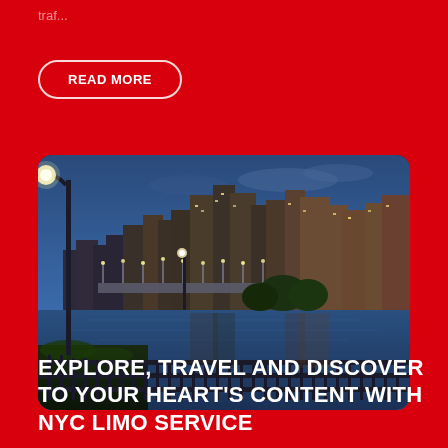traf...
READ MORE
[Figure (photo): City skyline at dusk reflected in a river, with a lit street lamp and iron railing in the foreground, bridge and tall buildings in background]
EXPLORE, TRAVEL AND DISCOVER TO YOUR HEART'S CONTENT WITH NYC LIMO SERVICE